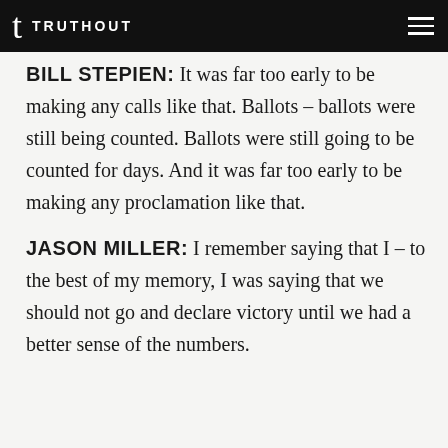TRUTHOUT
BILL STEPIEN: It was far too early to be making any calls like that. Ballots – ballots were still being counted. Ballots were still going to be counted for days. And it was far too early to be making any proclamation like that.
JASON MILLER: I remember saying that I – to the best of my memory, I was saying that we should not go and declare victory until we had a better sense of the numbers.